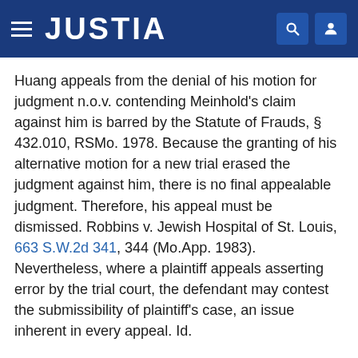JUSTIA
Huang appeals from the denial of his motion for judgment n.o.v. contending Meinhold's claim against him is barred by the Statute of Frauds, § 432.010, RSMo. 1978. Because the granting of his alternative motion for a new trial erased the judgment against him, there is no final appealable judgment. Therefore, his appeal must be dismissed. Robbins v. Jewish Hospital of St. Louis, 663 S.W.2d 341, 344 (Mo.App. 1983). Nevertheless, where a plaintiff appeals asserting error by the trial court, the defendant may contest the submissibility of plaintiff's case, an issue inherent in every appeal. Id.
Section 432.010, provides, in pertinent part:
No action shall be brought * * * to charge any person upon any special promise to answer for the debt, default or miscarriage of another person * * * unless the